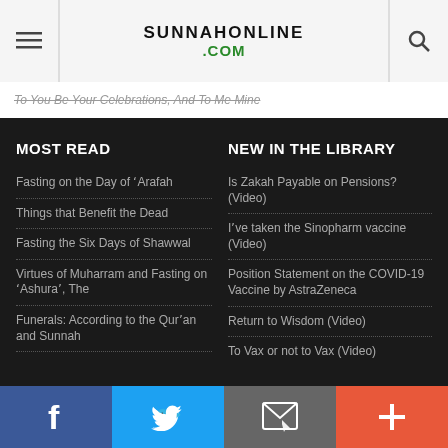SUNNAHONLINE .COM
To You Be Your Celebrations, And To Me Mine
MOST READ
Fasting on the Day of 'Arafah
Things that Benefit the Dead
Fasting the Six Days of Shawwal
Virtues of Muharram and Fasting on 'Ashura', The
Funerals: According to the Qur'an and Sunnah
NEW IN THE LIBRARY
Is Zakah Payable on Pensions? (Video)
I've taken the Sinopharm vaccine (Video)
Position Statement on the COVID-19 Vaccine by AstraZeneca
Return to Wisdom (Video)
To Vax or not to Vax (Video)
Facebook | Twitter | Email | More